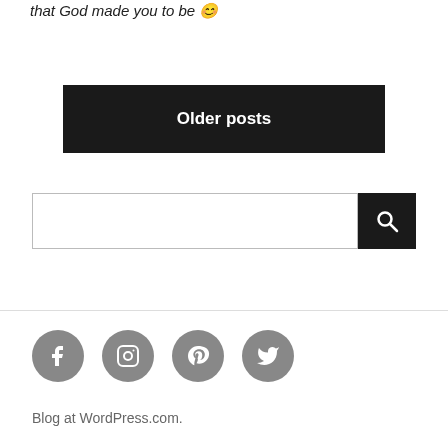that God made you to be 😊
Older posts
[Figure (other): Search input field with search button]
[Figure (other): Social media icons: Facebook, Instagram, Pinterest, Twitter]
Blog at WordPress.com.